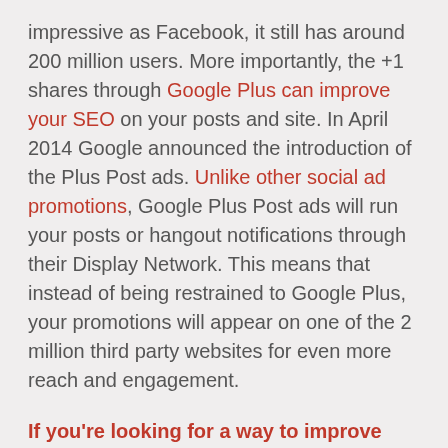impressive as Facebook, it still has around 200 million users. More importantly, the +1 shares through Google Plus can improve your SEO on your posts and site. In April 2014 Google announced the introduction of the Plus Post ads. Unlike other social ad promotions, Google Plus Post ads will run your posts or hangout notifications through their Display Network. This means that instead of being restrained to Google Plus, your promotions will appear on one of the 2 million third party websites for even more reach and engagement.
If you're looking for a way to improve your visibility, the infographic below can help you get started on creating your own Plus Post